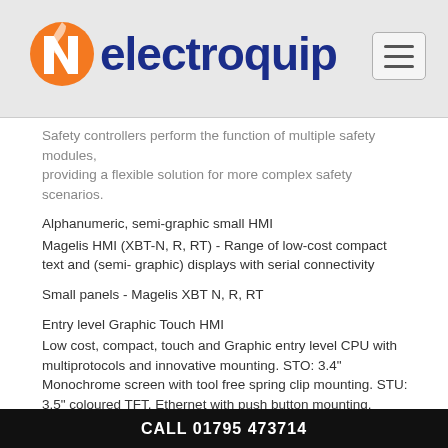[Figure (logo): Electroquip logo with orange flame/N icon and dark blue bold text 'electroquip']
Safety controllers perform the function of multiple safety modules, providing a flexible solution for more complex safety scenarios.
Alphanumeric, semi-graphic small HMI
Magelis HMI (XBT-N, R, RT) - Range of low-cost compact text and (semi- graphic) displays with serial connectivity
Small panels - Magelis XBT N, R, RT
Entry level Graphic Touch HMI
Low cost, compact, touch and Graphic entry level CPU with multiprotocols and innovative mounting. STO: 3.4" Monochrome screen with tool free spring clip mounting. STU: 3.5" coloured TFT, Ethernet with push button mounting.
New technology innovations can enhance the productivity of your machines - Magelis STO, STU
Graphic touchscreen HMI
Magelis HMI (XBTGT, GK, GTW) - from 3.8" to 15" in touchscreen, and
CALL 01795 473714